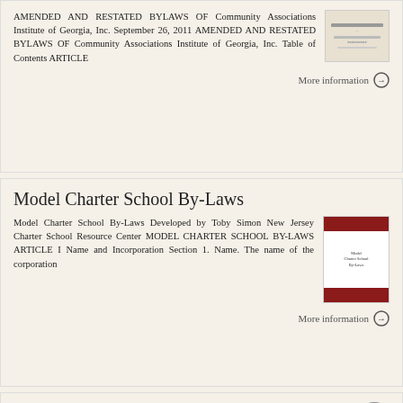AMENDED AND RESTATED BYLAWS OF Community Associations Institute of Georgia, Inc. September 26, 2011 AMENDED AND RESTATED BYLAWS OF Community Associations Institute of Georgia, Inc. Table of Contents ARTICLE
More information →
Model Charter School By-Laws
Model Charter School By-Laws Developed by Toby Simon New Jersey Charter School Resource Center MODEL CHARTER SCHOOL BY-LAWS ARTICLE I Name and Incorporation Section 1. Name. The name of the corporation
[Figure (illustration): Thumbnail image of Model Charter School By-Laws document cover with red header and footer bands and white middle section with title text]
More information →
Delaware Small Business Chamber By-Laws Amended 2013